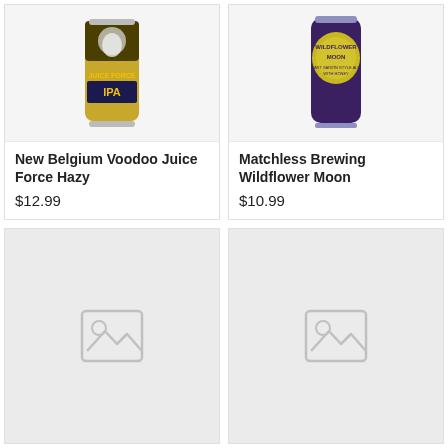[Figure (photo): New Belgium Voodoo Juice Force Hazy IPA beer can with skull character graphic]
New Belgium Voodoo Juice Force Hazy
$12.99
[Figure (photo): Matchless Brewing Wildflower Moon tart saison style ale with honey bottle/can]
Matchless Brewing Wildflower Moon
$10.99
[Figure (photo): Placeholder image icon - no product image available]
[Figure (photo): Placeholder image icon - no product image available]